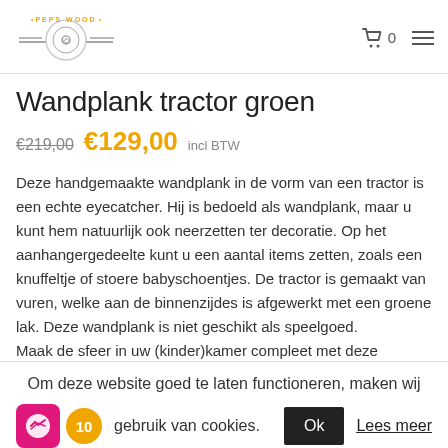Peps Wood — logo, cart (0), hamburger menu
Wandplank tractor groen
€219,00 €129,00 incl BTW
Deze handgemaakte wandplank in de vorm van een tractor is een echte eyecatcher. Hij is bedoeld als wandplank, maar u kunt hem natuurlijk ook neerzetten ter decoratie. Op het aanhangergedeelte kunt u een aantal items zetten, zoals een knuffeltje of stoere babyschoentjes. De tractor is gemaakt van vuren, welke aan de binnenzijdes is afgewerkt met een groene lak. Deze wandplank is niet geschikt als speelgoed. Maak de sfeer in uw (kinder)kamer compleet met deze
Om deze website goed te laten functioneren, maken wij gebruik van cookies. Ok Lees meer